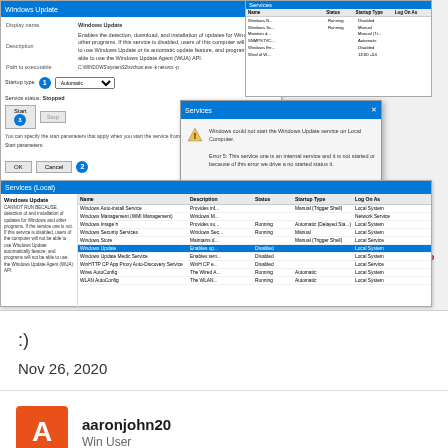[Figure (screenshot): Windows Services dialog and error popup screenshot. Shows a Windows Update service properties window with a dialog box showing an error/warning message. Numbers 1, 2, 3 annotate specific UI elements. The word 'output' appears in orange text. A red arrow points down to a second screenshot of the Windows Services list with Windows Update highlighted. Annotation in red bold text reads: After clicking OK, I go back to where I started]
:)
Nov 26, 2020
aaronjohn20
Win User